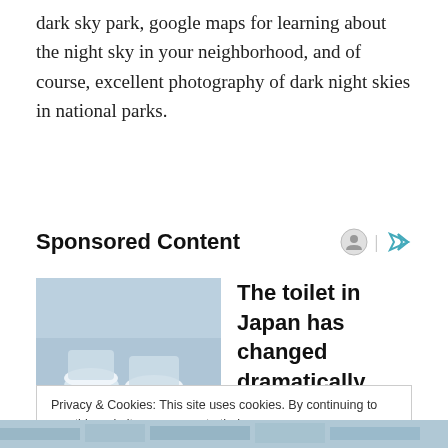dark sky park, google maps for learning about the night sky in your neighborhood, and of course, excellent photography of dark night skies in national parks.
Sponsored Content
[Figure (photo): Advertisement image showing modern white Japanese toilets arranged in a display, blue-tinted photography]
The toilet in Japan has changed dramatically over the past few years.
TOKYO UPDATES
Privacy & Cookies: This site uses cookies. By continuing to use this website, you agree to their use.
To find out more, including how to control cookies, see here: Cookie Policy
Close and accept